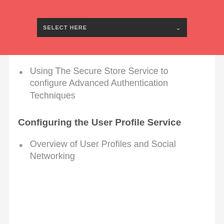[Figure (screenshot): Red header bar with a dark dropdown selector labeled SELECT HERE with a down chevron arrow]
Using The Secure Store Service to configure Advanced Authentication Techniques
Configuring the User Profile Service
Overview of User Profiles and Social Networking